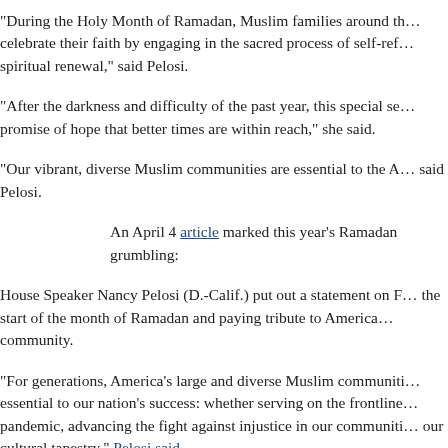“During the Holy Month of Ramadan, Muslim families around the world celebrate their faith by engaging in the sacred process of self-reflection and spiritual renewal,” said Pelosi.
“After the darkness and difficulty of the past year, this special season offers promise of hope that better times are within reach,” she said.
“Our vibrant, diverse Muslim communities are essential to the American tapestry,” said Pelosi.
An April 4 article marked this year’s Ramadan grumbling:
House Speaker Nancy Pelosi (D.-Calif.) put out a statement on Friday marking the start of the month of Ramadan and paying tribute to America’s Muslim community.
“For generations, America’s large and diverse Muslim community has been essential to our nation’s success: whether serving on the frontlines of this pandemic, advancing the fight against injustice in our communities, or enriching our cultural tapestry,” Pelosi said.
This was followed by an April 11 article -- also anonymously written -- titled “Pelosi Sends ‘Dear Colleague Letter:’ ‘As We…Continue to Celebrate Ramadan’”:
House Speaker Nancy Pelosi (D.-Calif.) sent a “Dear Colleague”